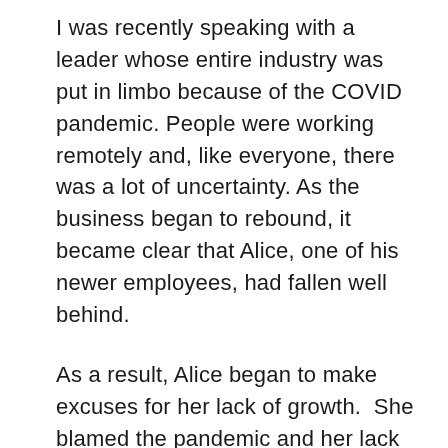I was recently speaking with a leader whose entire industry was put in limbo because of the COVID pandemic. People were working remotely and, like everyone, there was a lot of uncertainty. As the business began to rebound, it became clear that Alice, one of his newer employees, had fallen well behind.
As a result, Alice began to make excuses for her lack of growth. She blamed the pandemic and her lack of training for her stagnation. The problem was that Alice never called for help, never asked questions, and never took the initiative to talk to a tenured peer. She just waited for her